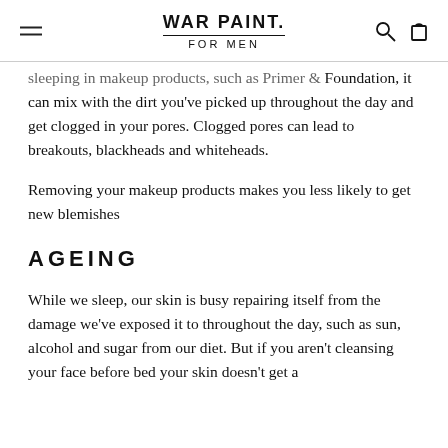WAR PAINT. FOR MEN
sleeping in makeup products, such as Primer & Foundation, it can mix with the dirt you've picked up throughout the day and get clogged in your pores. Clogged pores can lead to breakouts, blackheads and whiteheads.
Removing your makeup products makes you less likely to get new blemishes
AGEING
While we sleep, our skin is busy repairing itself from the damage we've exposed it to throughout the day, such as sun, alcohol and sugar from our diet. But if you aren't cleansing your face before bed your skin doesn't get a